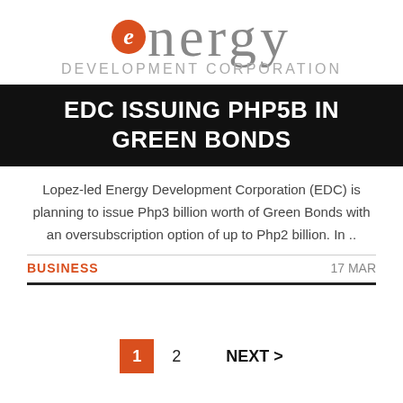[Figure (logo): Energy Development Corporation logo: orange circle with italic 'e', followed by 'nergy' in grey serif font, 'DEVELOPMENT CORPORATION' below in grey sans-serif capitals]
EDC ISSUING PHP5B IN GREEN BONDS
Lopez-led Energy Development Corporation (EDC) is planning to issue Php3 billion worth of Green Bonds with an oversubscription option of up to Php2 billion. In ..
BUSINESS   17 MAR
1  2  NEXT >